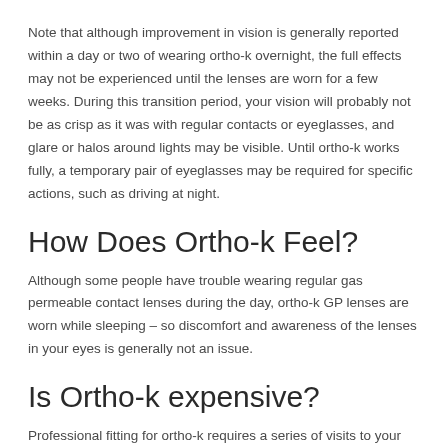Note that although improvement in vision is generally reported within a day or two of wearing ortho-k overnight, the full effects may not be experienced until the lenses are worn for a few weeks. During this transition period, your vision will probably not be as crisp as it was with regular contacts or eyeglasses, and glare or halos around lights may be visible. Until ortho-k works fully, a temporary pair of eyeglasses may be required for specific actions, such as driving at night.
How Does Ortho-k Feel?
Although some people have trouble wearing regular gas permeable contact lenses during the day, ortho-k GP lenses are worn while sleeping – so discomfort and awareness of the lenses in your eyes is generally not an issue.
Is Ortho-k expensive?
Professional fitting for ortho-k requires a series of visits to your eye doctor. A number of pairs of contact lenses are also generally